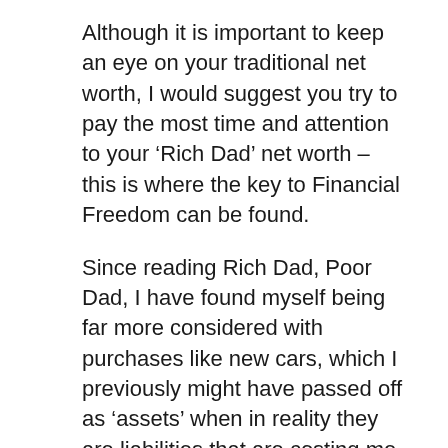Although it is important to keep an eye on your traditional net worth, I would suggest you try to pay the most time and attention to your ‘Rich Dad’ net worth – this is where the key to Financial Freedom can be found.
Since reading Rich Dad, Poor Dad, I have found myself being far more considered with purchases like new cars, which I previously might have passed off as ‘assets’ when in reality they are liabilities that are costing me more money.
I have seen the light when it comes to assets. If you don’t own it already, please do pick up a copy of Rich Dad, Poor Dad – it really is a must-read for anyone who is serious about Financial Independence.